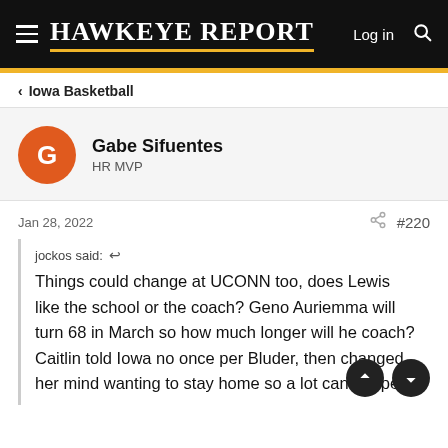HAWKEYE REPORT — Log in
Iowa Basketball
Gabe Sifuentes
HR MVP
Jan 28, 2022   #220
jockos said:  Things could change at UCONN too, does Lewis like the school or the coach? Geno Auriemma will turn 68 in March so how much longer will he coach? Caitlin told Iowa no once per Bluder, then changed her mind wanting to stay home so a lot can happen.